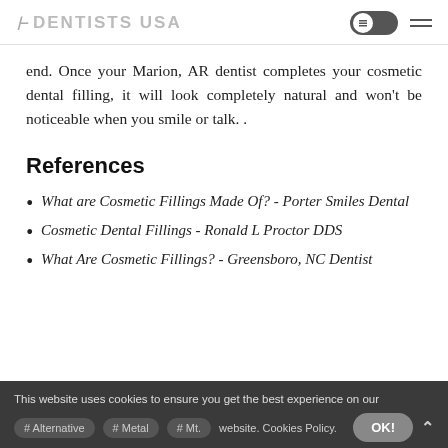DENTISTS USA
end. Once your Marion, AR dentist completes your cosmetic dental filling, it will look completely natural and won't be noticeable when you smile or talk. .
References
What are Cosmetic Fillings Made Of? - Porter Smiles Dental
Cosmetic Dental Fillings - Ronald L Proctor DDS
What Are Cosmetic Fillings? - Greensboro, NC Dentist
This website uses cookies to ensure you get the best experience on our website. Cookies Policy.
# Alternative  # Metal  # Mt.